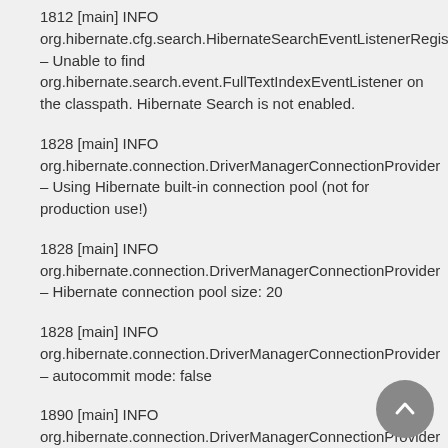1812 [main] INFO org.hibernate.cfg.search.HibernateSearchEventListenerRegister – Unable to find org.hibernate.search.event.FullTextIndexEventListener on the classpath. Hibernate Search is not enabled.
1828 [main] INFO org.hibernate.connection.DriverManagerConnectionProvider – Using Hibernate built-in connection pool (not for production use!)
1828 [main] INFO org.hibernate.connection.DriverManagerConnectionProvider – Hibernate connection pool size: 20
1828 [main] INFO org.hibernate.connection.DriverManagerConnectionProvider – autocommit mode: false
1890 [main] INFO org.hibernate.connection.DriverManagerConnectionProvider – using driver: com.mysql.jdbc.Driver at URL: